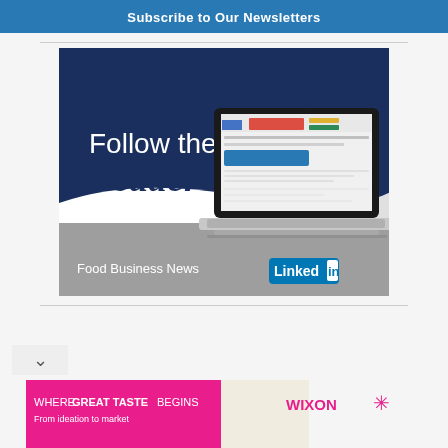Subscribe to Our Newsletters
[Figure (advertisement): Food Business News LinkedIn ad. Text reads 'Follow the Leader' with image of a laptop showing a LinkedIn page. Branding: Food Business News | LinkedIn logo.]
[Figure (advertisement): Wixon ad banner: 'WHERE GREAT TASTE BEGINS - From ideation to market' with Wixon logo and food images.]